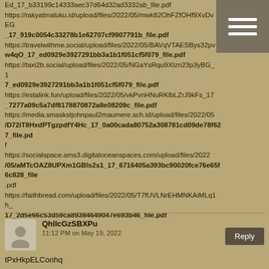Ed_17_b33199c14333aec37d64d32ad3332ab_file.pdf https://rakyatmaluku.id/upload/files/2022/05/mwk82OhFZfOHf9XvDvEG_17_919c0054c33278b1e62707cf9907791b_file.pdf https://travelwithme.social/upload/files/2022/05/BAVqVTAESBys32pvw4qO_17_ed0929e3927291bb3a1b1f051cf5f079_file.pdf https://taxi2b.social/upload/files/2022/05/NGaYsRqu9XIzn23p3yBG_17_ed0929e3927291bb3a1b1f051cf5f079_file.pdf https://estalink.fun/upload/files/2022/05/vkPvnHNuRKlbLZrJ9kFs_17_7277a09c5a7df8178870872a8e08209c_file.pdf https://media.smaskstjohnpaul2maumere.sch.id/upload/files/2022/05/D72iT8HxdPTgzpdfY4Hc_17_0a00cada80752a308781cd09de78f627_file.pdf https://socialspace.ams3.digitaloceanspaces.com/upload/files/2022/05/aMTcOAZ8UPXm1GBls2s1_17_6716405a393bc90020fce76e65f6c828_file.pdf https://faithbread.com/upload/files/2022/05/T7fUVLNrEHMNKAiMLq1h_17_2d5e66c53d59ca89384649047e693b46_file.pdf
QhlIcGzSBXPu
11:12 PM on May 19, 2022
tPxHkpELConhq